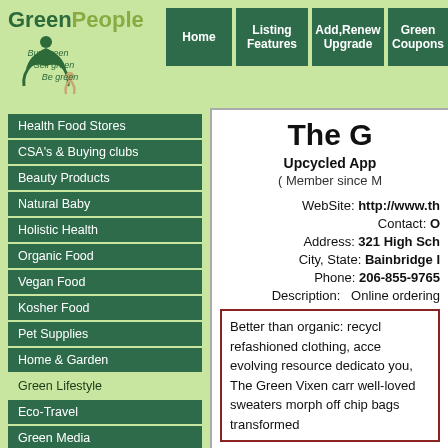GreenPeople - Buy green Sell green Be green | Home | Listing Features | Add,Renew Upgrade | Green Coupons
Health Food Stores
CSA's & Buying clubs
Beauty Products
Natural Baby
Holistic Health
Organic Food
Vegan Food
Kosher Food
Pet Supplies
Home & Garden
Green Lifestyle
Eco-Travel
Green Media
The G
Upcycled App
( Member since M
WebSite: http://www.th
Contact: O
Address: 321 High Sch
City, State: Bainbridge I
Phone: 206-855-9765
Description:   Online ordering
Better than organic: recycl refashioned clothing, acce evolving resource dedicato you, The Green Vixen carr well-loved sweaters morph off chip bags transformed